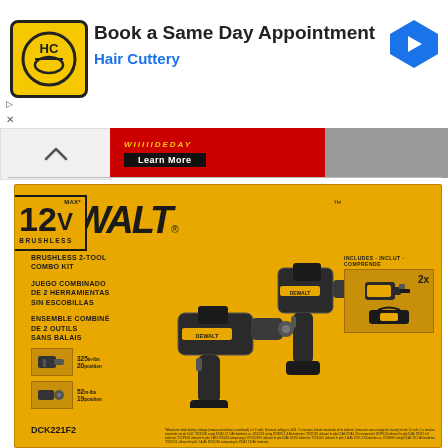[Figure (screenshot): Hair Cuttery advertisement banner with logo, 'Book a Same Day Appointment' headline, 'Hair Cuttery' subtext, and navigation arrow icon]
[Figure (screenshot): Partial red/gray advertisement banner with 'Learn More' button]
[Figure (photo): DEWALT DCK221F2 12V MAX Brushless 2-Tool Combo Kit product box in yellow, showing two drills, 12V BRUSHLESS badge, product descriptions in English/Spanish/French, spec icons showing 32in/20in and 52in/19in values, includes badge with 2x batteries, model number DCK221F2, and fine print footnotes]